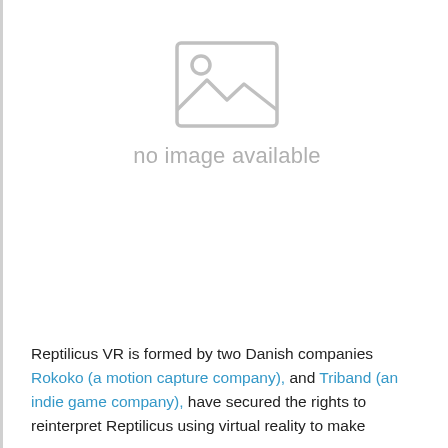[Figure (other): Placeholder image icon with 'no image available' text in gray]
Reptilicus VR is formed by two Danish companies Rokoko (a motion capture company), and Triband (an indie game company), have secured the rights to reinterpret Reptilicus using virtual reality to make